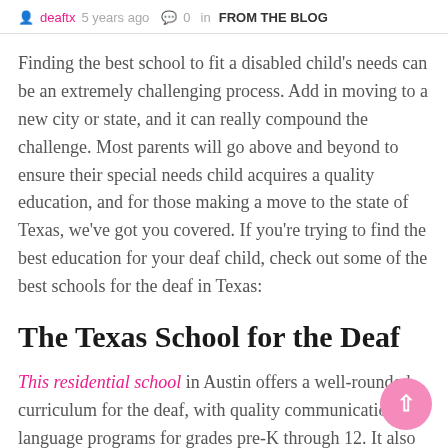deaftx  5 years ago  0  in  FROM THE BLOG
Finding the best school to fit a disabled child's needs can be an extremely challenging process. Add in moving to a new city or state, and it can really compound the challenge. Most parents will go above and beyond to ensure their special needs child acquires a quality education, and for those making a move to the state of Texas, we've got you covered. If you're trying to find the best education for your deaf child, check out some of the best schools for the deaf in Texas:
The Texas School for the Deaf
This residential school in Austin offers a well-rounded curriculum for the deaf, with quality communication and language programs for grades pre-K through 12. It also accommodates students with other disabilities as well. The